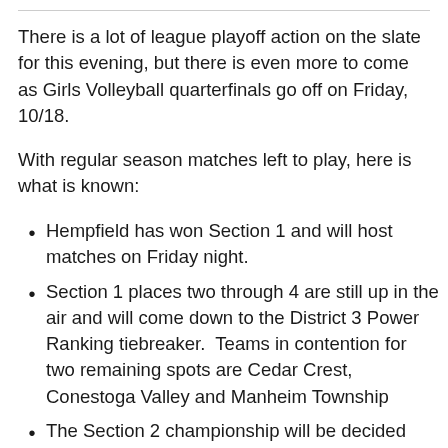There is a lot of league playoff action on the slate for this evening, but there is even more to come as Girls Volleyball quarterfinals go off on Friday, 10/18.
With regular season matches left to play, here is what is known:
Hempfield has won Section 1 and will host matches on Friday night.
Section 1 places two through 4 are still up in the air and will come down to the District 3 Power Ranking tiebreaker.  Teams in contention for two remaining spots are Cedar Crest, Conestoga Valley and Manheim Township
The Section 2 championship will be decided Wednesday night when top teams Garden Spot...